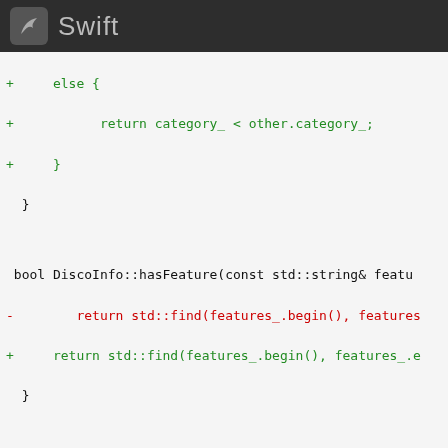Swift
+     else {
+           return category_ < other.category_;
+     }
  }

 bool DiscoInfo::hasFeature(const std::string& featu
-        return std::find(features_.begin(), features
+     return std::find(features_.begin(), features_.e
  }

  }

diff --git a/Swiften/Elements/DiscoInfo.h b/Swiften/
index 01a49bd..d6ca6b8 100644
--- a/Swiften/Elements/DiscoInfo.h
+++ b/Swiften/Elements/DiscoInfo.h
@@ -14,100 +14,100 @@
 #include <Swiften/Elements/Payload.h>

 namespace Swift {